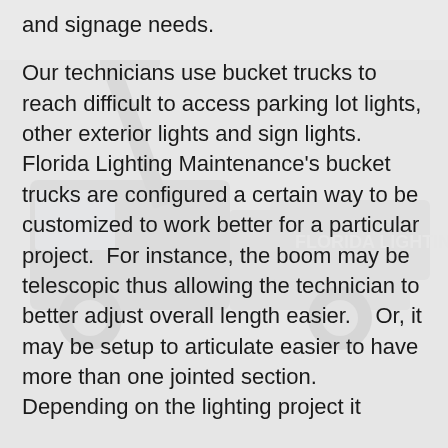and signage needs.
Our technicians use bucket trucks to reach difficult to access parking lot lights, other exterior lights and sign lights.  Florida Lighting Maintenance's bucket trucks are configured a certain way to be customized to work better for a particular project.  For instance, the boom may be telescopic thus allowing the technician to better adjust overall length easier.    Or, it may be setup to articulate easier to have more than one jointed section.  Depending on the lighting project it